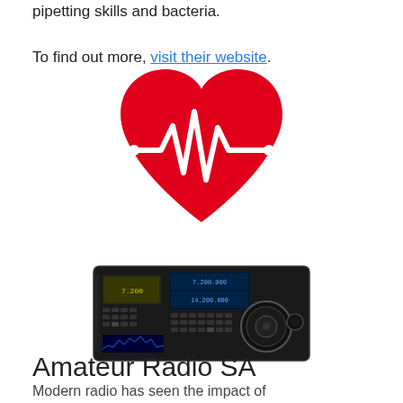pipetting skills and bacteria. To find out more, visit their website.
[Figure (illustration): Red heart icon with a white heartbeat/EKG line running through the center]
[Figure (photo): Photo of a black amateur radio transceiver unit with multiple displays, buttons, and a large tuning dial]
Amateur Radio SA
Modern radio has seen the impact of